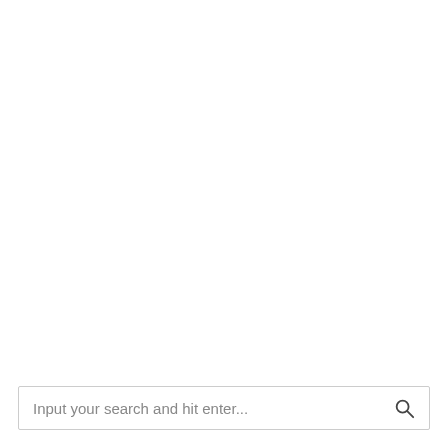Input your search and hit enter...